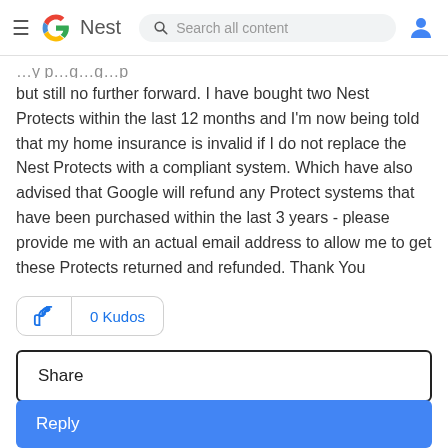≡ G Nest  Search all content
but still no further forward. I have bought two Nest Protects within the last 12 months and I'm now being told that my home insurance is invalid if I do not replace the Nest Protects with a compliant system. Which have also advised that Google will refund any Protect systems that have been purchased within the last 3 years - please provide me with an actual email address to allow me to get these Protects returned and refunded. Thank You
0 Kudos
Share
Reply